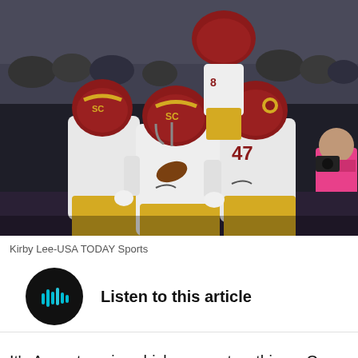[Figure (photo): USC football players in white and gold uniforms with red helmets celebrating, player #47 visible, crowd and a photographer in a pink vest in the background]
Kirby Lee-USA TODAY Sports
[Figure (other): Listen to this article audio player button with dark circular icon showing sound wave bars]
It's August again, which means two things. One, the college football season is right around the corner, and